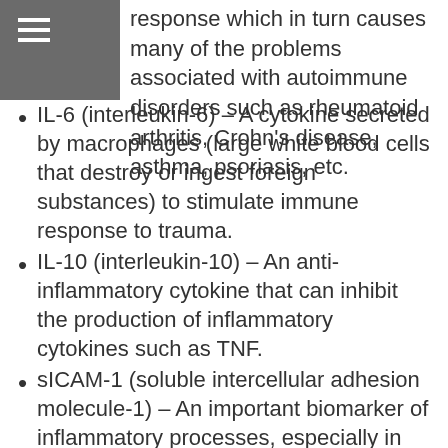≡
response which in turn causes many of the problems associated with autoimmune disorders such as rheumatoid arthritis, Crohn's disease, asthma, psoriasis, etc.
IL-6 (interleukin-6) – A cytokine secreted by macrophages (large white blood cells that destroy or ingest foreign substances) to stimulate immune response to trauma.
IL-10 (interleukin-10) – An anti-inflammatory cytokine that can inhibit the production of inflammatory cytokines such as TNF.
sICAM-1 (soluble intercellular adhesion molecule-1) – An important biomarker of inflammatory processes, especially in atherosclerosis and cancer.
sVCAM-1 (soluble vascular cell adhesion molecule-1) – An important biomarker of